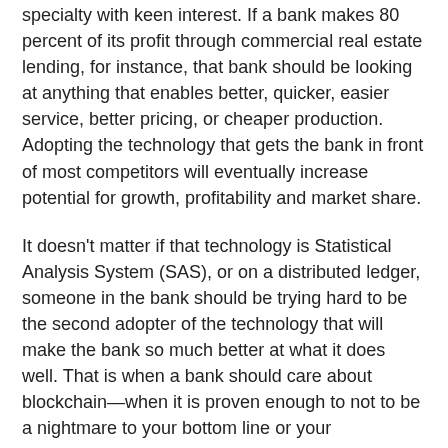specialty with keen interest. If a bank makes 80 percent of its profit through commercial real estate lending, for instance, that bank should be looking at anything that enables better, quicker, easier service, better pricing, or cheaper production. Adopting the technology that gets the bank in front of most competitors will eventually increase potential for growth, profitability and market share.
It doesn't matter if that technology is Statistical Analysis System (SAS), or on a distributed ledger, someone in the bank should be trying hard to be the second adopter of the technology that will make the bank so much better at what it does well. That is when a bank should care about blockchain—when it is proven enough to not to be a nightmare to your bottom line or your employees, and provides a competitive advantage in an area that really counts.